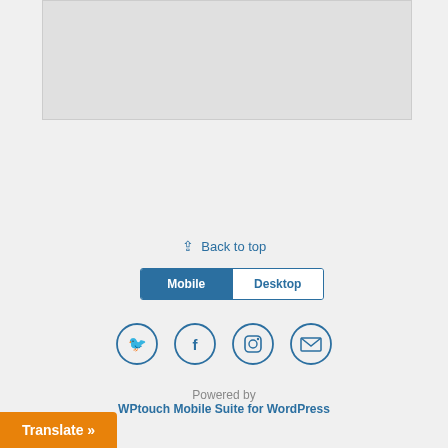[Figure (map): Gray map placeholder area]
Back to top
Mobile | Desktop
[Figure (other): Four social media icons in circles: Twitter, Facebook, Instagram, Email]
Powered by WPtouch Mobile Suite for WordPress
Translate »